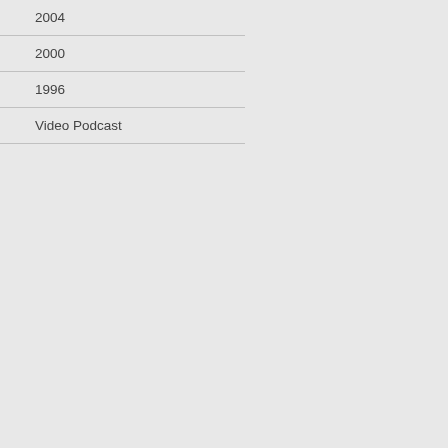2004
2000
1996
Video Podcast
microphones - placed up trees, in bushe... recording studio, a camper van - to coll... each morning. In total Coates and Sam... quest for knowledge on how birds comm... environment is one that occupies anima... fieldwork for Dawn Chorus captured val... quandries.
Each of the birdsongs from a single mo... to 16 times. Human singers were then f... these songs were relatively easy to min... impossible. The blackbird and songthr... sequence of unpredictable and unfamili... ranging pitch and they often sing two n... windpipes). The human singers replicat... techniques including sucking in air, gru... by each performer was then speeded b... resulting in four minutes of film footage.
The screens in the exhibition represent... fieldwork. The singers were filmed in ha... sheds, bedrooms, hotel rooms, cars - re...
Coates explores the relationships betwe... performances either he, or his collabora... and marine mammals. Coates tries to...